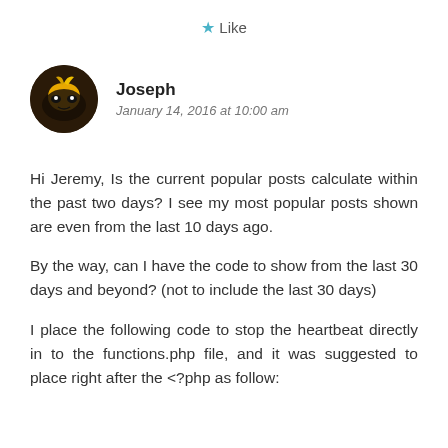★ Like
Joseph
January 14, 2016 at 10:00 am
Hi Jeremy, Is the current popular posts calculate within the past two days? I see my most popular posts shown are even from the last 10 days ago.
By the way, can I have the code to show from the last 30 days and beyond? (not to include the last 30 days)
I place the following code to stop the heartbeat directly in to the functions.php file, and it was suggested to place right after the <?php as follow: